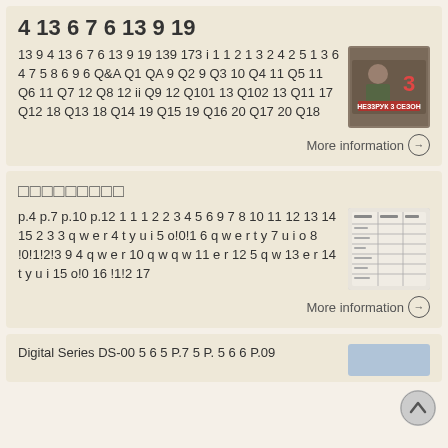4 13 6 7 6 13 9 19
13 9 4 13 6 7 6 13 9 19 139 173 i 1 1 2 1 3 2 4 2 5 1 3 6 4 7 5 8 6 9 6 Q&A Q1 QA 9 Q2 9 Q3 10 Q4 11 Q5 11 Q6 11 Q7 12 Q8 12 ii Q9 12 Q101 13 Q102 13 Q11 17 Q12 18 Q13 18 Q14 19 Q15 19 Q16 20 Q17 20 Q18
[Figure (photo): Movie cover thumbnail showing a person with Cyrillic text overlay]
More information →
□□□□□□□□□
p.4 p.7 p.10 p.12 1 1 1 2 2 3 4 5 6 9 7 8 10 11 12 13 14 15 2 3 3 q w e r 4 t y u i 5 o!0!1 6 q w e r t y 7 u i o 8 !0!1!2!3 9 4 q w e r 10 q w q w 11 e r 12 5 q w 13 e r 14 t y u i 15 o!0 16 !1!2 17
[Figure (table-as-image): Document thumbnail showing a table or form with Japanese text]
More information →
Digital Series DS-00 5 6 5 P.7 5 P. 5 6 6 P.09